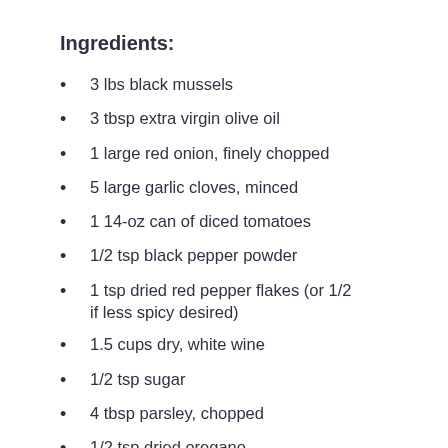Ingredients:
3 lbs black mussels
3 tbsp extra virgin olive oil
1 large red onion, finely chopped
5 large garlic cloves, minced
1 14-oz can of diced tomatoes
1/2 tsp black pepper powder
1 tsp dried red pepper flakes (or 1/2 if less spicy desired)
1.5 cups dry, white wine
1/2 tsp sugar
4 tbsp parsley, chopped
1/2 tsp dried oregano